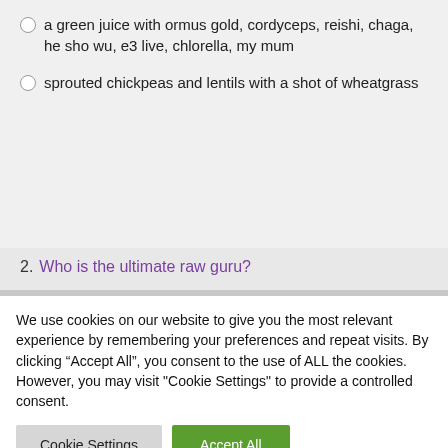a green juice with ormus gold, cordyceps, reishi, chaga, he sho wu, e3 live, chlorella, my mum
sprouted chickpeas and lentils with a shot of wheatgrass
2. Who is the ultimate raw guru?
We use cookies on our website to give you the most relevant experience by remembering your preferences and repeat visits. By clicking “Accept All”, you consent to the use of ALL the cookies. However, you may visit "Cookie Settings" to provide a controlled consent.
Cookie Settings   Accept All